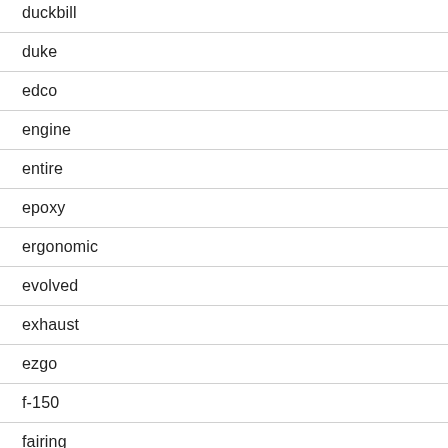duckbill
duke
edco
engine
entire
epoxy
ergonomic
evolved
exhaust
ezgo
f-150
fairing
feed